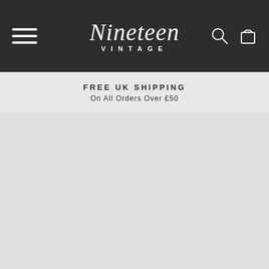Nineteen Vintage — navigation bar with hamburger menu, logo, search and cart icons
FREE UK SHIPPING
On All Orders Over £50